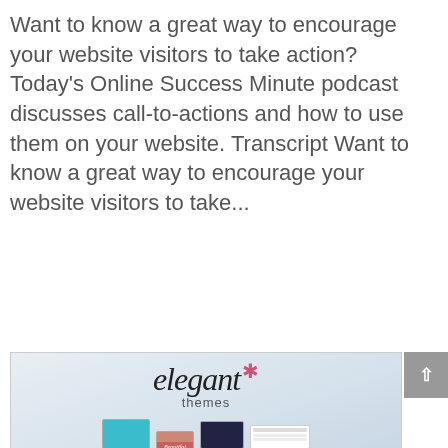Want to know a great way to encourage your website visitors to take action? Today's Online Success Minute podcast discusses call-to-actions and how to use them on your website. Transcript Want to know a great way to encourage your website visitors to take...
Search
[Figure (logo): Elegant Themes logo with asterisk/star in pink, stylized italic text 'elegant' with 'themes' below, on a light blue-grey gradient background. Below the logo area are thumbnail previews of website themes including one labeled 'Beautiful'.]